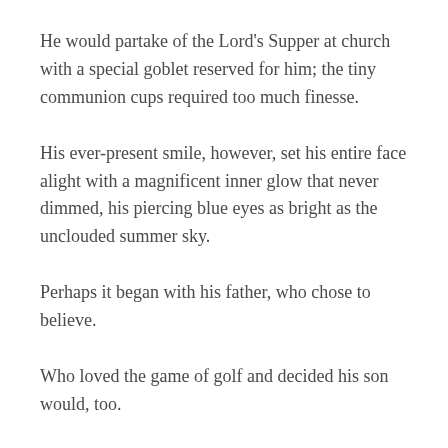He would partake of the Lord's Supper at church with a special goblet reserved for him; the tiny communion cups required too much finesse.
His ever-present smile, however, set his entire face alight with a magnificent inner glow that never dimmed, his piercing blue eyes as bright as the unclouded summer sky.
Perhaps it began with his father, who chose to believe.
Who loved the game of golf and decided his son would, too.
And so he taught his boy.